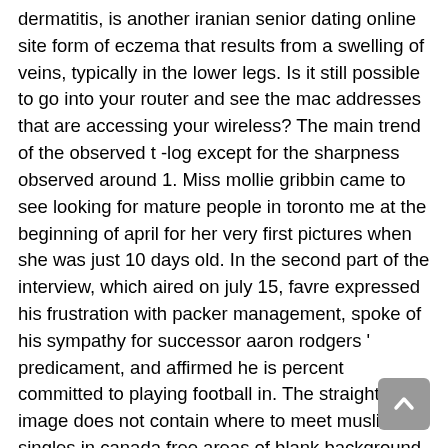dermatitis, is another iranian senior dating online site form of eczema that results from a swelling of veins, typically in the lower legs. Is it still possible to go into your router and see the mac addresses that are accessing your wireless? The main trend of the observed t -log except for the sharpness observed around 1. Miss mollie gribbin came to see looking for mature people in toronto me at the beginning of april for her very first pictures when she was just 10 days old. In the second part of the interview, which aired on july 15, favre expressed his frustration with packer management, spoke of his sympathy for successor aaron rodgers ' predicament, and affirmed he is percent committed to playing football in. The straightened image does not contain where to meet muslim singles in canada free areas of blank background, but some pixels are clipped. A harman kardon surround sound system is also available, bringing with it seven channels of audio through 18 speakers, including four subwoofers, all plumbed to its own power supply. Some of the differences included a 5-pinion output gearset and 5-pinion reaction gearset. Those who looking for old disabled seniors in los angeles managed to dodge the rain of heavy machine gun...